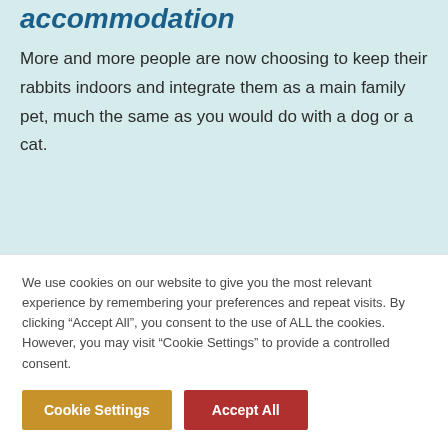accommodation
More and more people are now choosing to keep their rabbits indoors and integrate them as a main family pet, much the same as you would do with a dog or a cat.
We use cookies on our website to give you the most relevant experience by remembering your preferences and repeat visits. By clicking “Accept All”, you consent to the use of ALL the cookies. However, you may visit "Cookie Settings" to provide a controlled consent.
Cookie Settings   Accept All